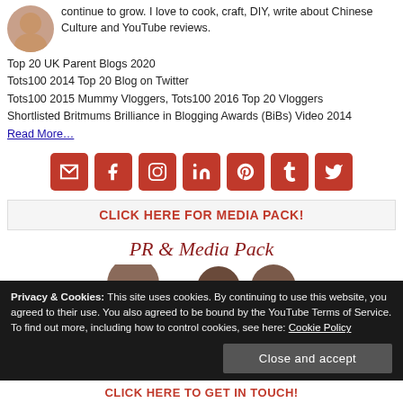continue to grow. I love to cook, craft, DIY, write about Chinese Culture and YouTube reviews.
Top 20 UK Parent Blogs 2020
Tots100 2014 Top 20 Blog on Twitter
Tots100 2015 Mummy Vloggers, Tots100 2016 Top 20 Vloggers
Shortlisted Britmums Brilliance in Blogging Awards (BiBs) Video 2014
Read More…
[Figure (infographic): Row of 7 red social media icon buttons: email, Facebook, Instagram, LinkedIn, Pinterest, Tumblr, Twitter]
CLICK HERE FOR MEDIA PACK!
PR & Media Pack
[Figure (photo): Partial heads of family members visible at bottom of PR & Media Pack section]
Privacy & Cookies: This site uses cookies. By continuing to use this website, you agreed to their use. You also agreed to be bound by the YouTube Terms of Service. To find out more, including how to control cookies, see here: Cookie Policy
Close and accept
CLICK HERE TO GET IN TOUCH!